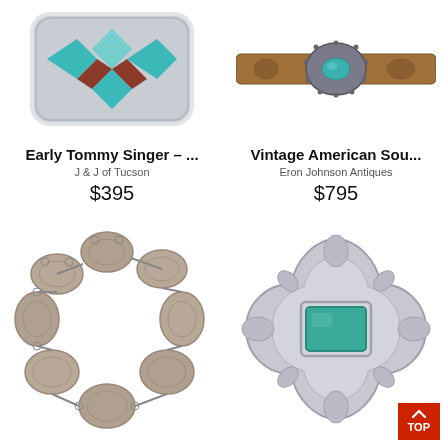[Figure (photo): Early Tommy Singer turquoise inlay belt buckle with geometric Native American design in turquoise and red on silver]
Early Tommy Singer – ...
J & J of Tucson
$395
[Figure (photo): Vintage American Southwest leather belt with turquoise and silver concho buckle]
Vintage American Sou...
Eron Johnson Antiques
$795
[Figure (photo): Silver concho necklace with oval silver discs linked together]
[Figure (photo): Silver and turquoise brooch/pin with ornate silver work and rectangular turquoise stone]